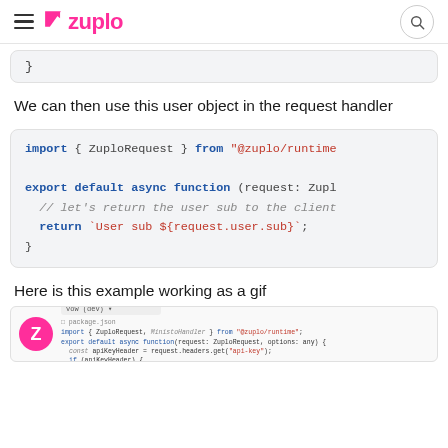Zuplo
}
We can then use this user object in the request handler
[Figure (screenshot): Code block showing: import { ZuploRequest } from "@zuplo/runtime"; export default async function (request: Zupl... // let's return the user sub to the client; return `User sub ${request.user.sub}`; }]
Here is this example working as a gif
[Figure (screenshot): Screenshot of Zuplo dev environment showing code editor with import and export default async function code]